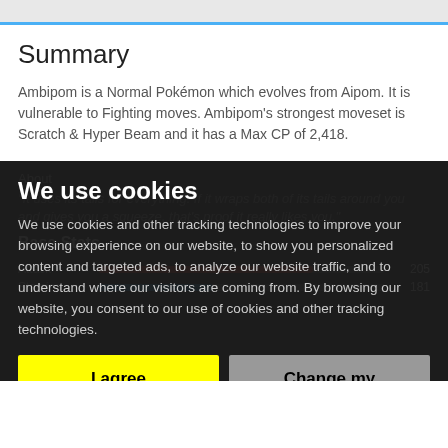Summary
Ambipom is a Normal Pokémon which evolves from Aipom. It is vulnerable to Fighting moves. Ambipom's strongest moveset is Scratch & Hyper Beam and it has a Max CP of 2,418.
About
"It uses its tails for everything. If it wraps both of its tails around you and gives you a squeeze, that's proof it really likes you."
Base Stats
|  |  |  |
| --- | --- | --- |
| Attack |  | 205 |
| Stamina |  | 181 |
We use cookies
We use cookies and other tracking technologies to improve your browsing experience on our website, to show you personalized content and targeted ads, to analyze our website traffic, and to understand where our visitors are coming from. By browsing our website, you consent to our use of cookies and other tracking technologies.
I agree
Change my preferences